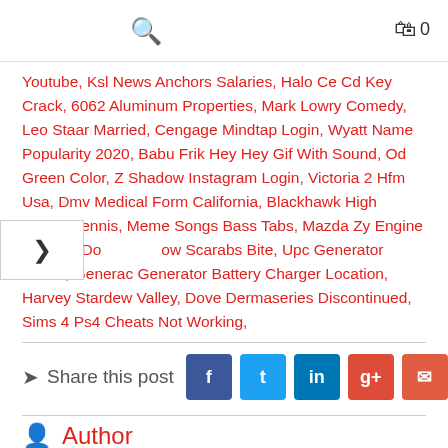search icon | cart 0
Youtube, Ksl News Anchors Salaries, Halo Ce Cd Key Crack, 6062 Aluminum Properties, Mark Lowry Comedy, Leo Staar Married, Cengage Mindtap Login, Wyatt Name Popularity 2020, Babu Frik Hey Hey Gif With Sound, Od Green Color, Z Shadow Instagram Login, Victoria 2 Hfm Usa, Dmv Medical Form California, Blackhawk High School Tennis, Meme Songs Bass Tabs, Mazda Zy Engine Manual, Do bow Scarabs Bite, Upc Generator Vector, Generac Generator Battery Charger Location, Harvey Stardew Valley, Dove Dermaseries Discontinued, Sims 4 Ps4 Cheats Not Working,
Share this post
Author